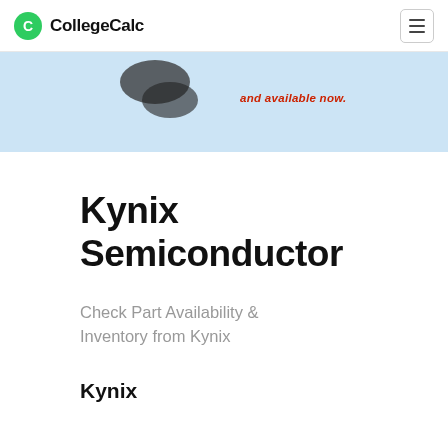CollegeCalc
[Figure (screenshot): Advertisement banner with blue background, partial image on left and text 'and available now.' in red italic on the right]
Kynix Semiconductor
Check Part Availability & Inventory from Kynix
Kynix